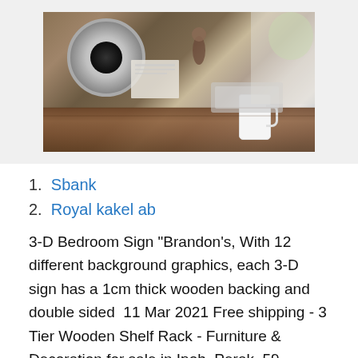[Figure (photo): A desk scene with a round white speaker on a wooden stand, a white mug, small figurines, notebooks, and other desk items on a wooden surface. Light background.]
1. Sbank
2. Royal kakel ab
3-D Bedroom Sign "Brandon's, With 12 different background graphics, each 3-D sign has a 1cm thick wooden backing and double sided  11 Mar 2021 Free shipping - 3 Tier Wooden Shelf Rack - Furniture & Decoration for sale in Ipoh, Perak. 59